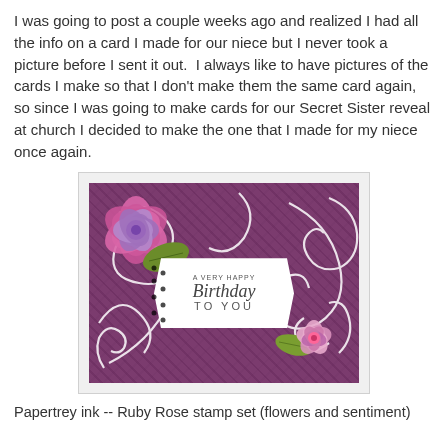I was going to post a couple weeks ago and realized I had all the info on a card I made for our niece but I never took a picture before I sent it out.  I always like to have pictures of the cards I make so that I don't make them the same card again, so since I was going to make cards for our Secret Sister reveal at church I decided to make the one that I made for my niece once again.
[Figure (photo): A handmade birthday card with purple background, white swirl embossing, pink and purple flowers, green leaves, and a white die-cut sentiment label reading 'A Very Happy Birthday to You']
Papertrey ink -- Ruby Rose stamp set (flowers and sentiment)